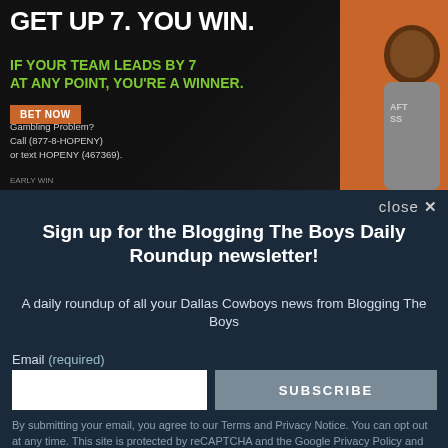[Figure (photo): Sports betting advertisement showing 'GET UP 7. YOU WIN. IF YOUR TEAM LEADS BY 7 AT ANY POINT, YOU'RE A WINNER.' with a BET NOW button, gambling problem helpline info, EARLY WIN logo, and a person wearing a DraftKings shirt on an orange background.]
close ✕
Sign up for the Blogging The Boys Daily Roundup newsletter!
A daily roundup of all your Dallas Cowboys news from Blogging The Boys
Email (required)
SUBSCRIBE
By submitting your email, you agree to our Terms and Privacy Notice. You can opt out at any time. This site is protected by reCAPTCHA and the Google Privacy Policy and Terms of Service apply.